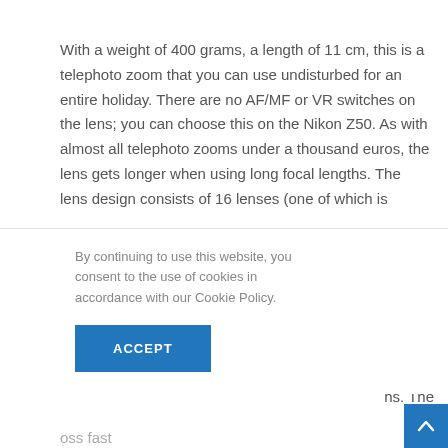With a weight of 400 grams, a length of 11 cm, this is a telephoto zoom that you can use undisturbed for an entire holiday. There are no AF/MF or VR switches on the lens; you can choose this on the Nikon Z50. As with almost all telephoto zooms under a thousand euros, the lens gets longer when using long focal lengths. The lens design consists of 16 lenses (one of which is
ss) in 12
led
.
hs. The
By continuing to use this website, you consent to the use of cookies in accordance with our Cookie Policy.
ACCEPT
oss fast